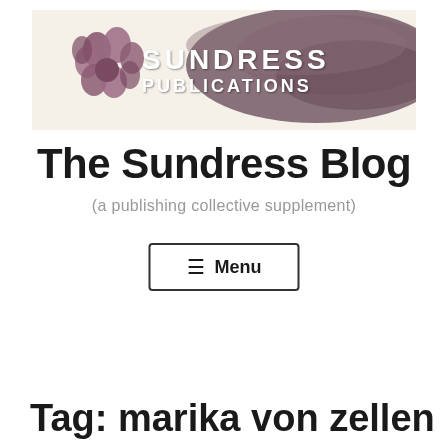[Figure (logo): Sundress Publications logo banner with flower/butterfly icon on left, text 'SUNDRESS PUBLICATIONS' in white on a beige background with a dark purple/gray brushstroke overlay on the right side]
The Sundress Blog
(a publishing collective supplement)
≡ Menu
Tag: marika von zellen